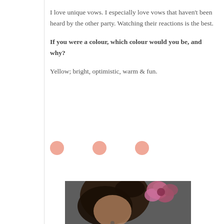I love unique vows. I especially love vows that haven't been heard by the other party. Watching their reactions is the best.
If you were a colour, which colour would you be, and why?
Yellow; bright, optimistic, warm & fun.
[Figure (illustration): Three small salmon/peach-colored decorative dots arranged horizontally]
[Figure (photo): Close-up photo of a woman with dark hair in an updo, wearing a pink flower hair accessory]